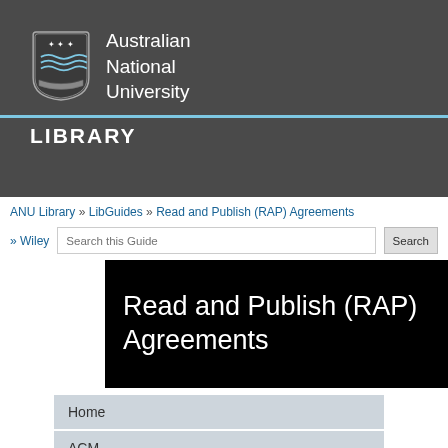[Figure (logo): Australian National University crest/shield logo with waves and stars, white on dark background]
Australian National University
LIBRARY
ANU Library » LibGuides » Read and Publish (RAP) Agreements » Wiley
Search this Guide   Search
Read and Publish (RAP) Agreements
Home
ACM
Brill
Future Science
Microbiology Society